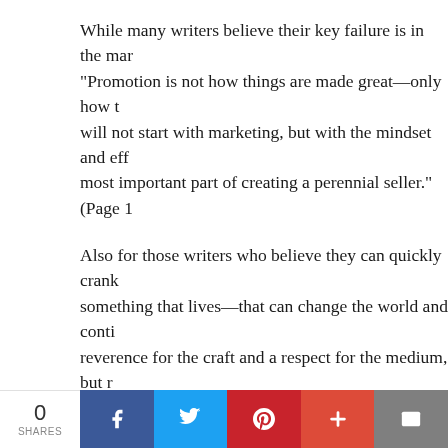While many writers believe their key failure is in the marketing, "Promotion is not how things are made great—only how things are made known." will not start with marketing, but with the mindset and effort... most important part of creating a perennial seller." (Page ...)
Also for those writers who believe they can quickly crank out something that lives—that can change the world and continue... reverence for the craft and a respect for the medium, but ...
No matter who you are working with to get the book out there, Perennial Seller encouraging the writer to take their own responsibility rather than leaving it to someone else. In the section on positioning, he writes a section... first step in the process is coming to terms with the fact that no one is going to take this thing off your hands and champion it the rest of the way... that the person who is going to need to step up is you." (P...)
0 SHARES | Facebook | Twitter | Pinterest | + | Email